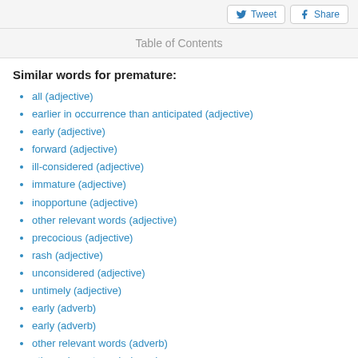Tweet  Share
Table of Contents
Similar words for premature:
all (adjective)
earlier in occurrence than anticipated (adjective)
early (adjective)
forward (adjective)
ill-considered (adjective)
immature (adjective)
inopportune (adjective)
other relevant words (adjective)
precocious (adjective)
rash (adjective)
unconsidered (adjective)
untimely (adjective)
early (adverb)
early (adverb)
other relevant words (adverb)
other relevant words (noun)